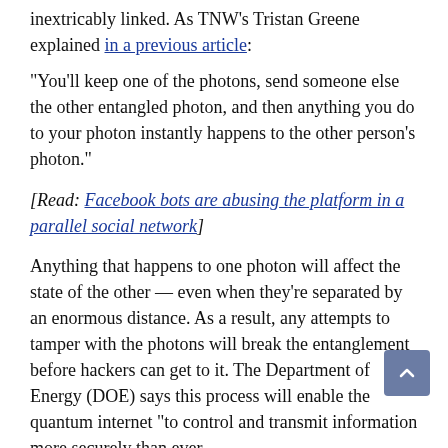inextricably linked. As TNW's Tristan Greene explained in a previous article:
“You’ll keep one of the photons, send someone else the other entangled photon, and then anything you do to your photon instantly happens to the other person’s photon.”
[Read: Facebook bots are abusing the platform in a parallel social network]
Anything that happens to one photon will affect the state of the other — even when they’re separated by an enormous distance. As a result, any attempts to tamper with the photons will break the entanglement before hackers can get to it. The Department of Energy (DOE) says this process will enable the quantum internet “to control and transmit information more securely than ever